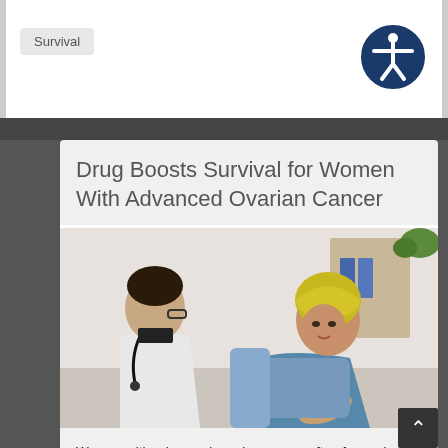Survival
Drug Boosts Survival for Women With Advanced Ovarian Cancer
[Figure (photo): A doctor in a white coat with a stethoscope speaks with a female cancer patient wearing a yellow head wrap, who is reclining in a medical setting.]
Women with advanced ovarian cancer often face grim statistics, with less than half surviving for five years or more.